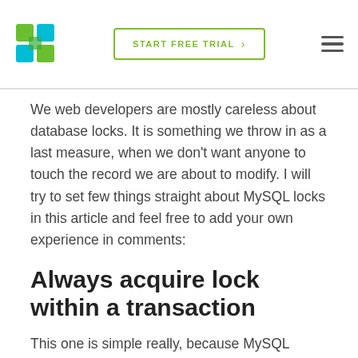START FREE TRIAL
We web developers are mostly careless about database locks. It is something we throw in as a last measure, when we don't want anyone to touch the record we are about to modify. I will try to set few things straight about MySQL locks in this article and feel free to add your own experience in comments:
Always acquire lock within a transaction
This one is simple really, because MySQL provides no way of explicitly